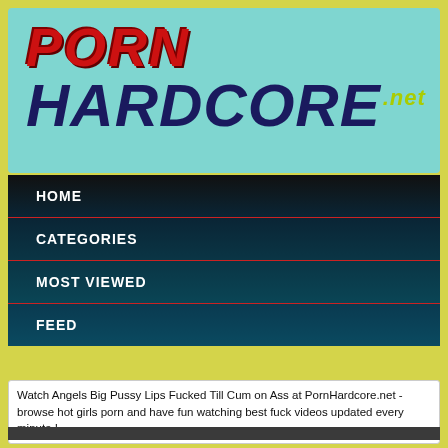[Figure (logo): PornHardcore.net logo on teal/cyan background with red PORN text and dark navy HARDCORE text]
HOME
CATEGORIES
MOST VIEWED
FEED
Watch Angels Big Pussy Lips Fucked Till Cum on Ass at PornHardcore.net - browse hot girls porn and have fun watching best fuck videos updated every minute !
[Figure (photo): Dark gray/charcoal rectangle, appears to be a video player area]